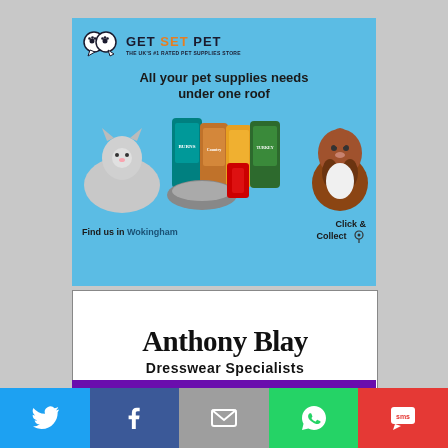[Figure (infographic): Get Set Pet advertisement. Blue background with logo (two speech bubbles with paw prints), tagline 'All your pet supplies needs under one roof', product images including cat, dog, pet food bags, pet bed, and harness. Text: Find us in Wokingham, Click & Collect.]
[Figure (infographic): Anthony Blay Dresswear Specialists advertisement. White background with Old English style font for name and bold sans-serif subtitle.]
[Figure (infographic): Social media sharing bar with Twitter (blue), Facebook (dark blue), Email (grey), WhatsApp (green), SMS (red) buttons at the bottom of the page.]